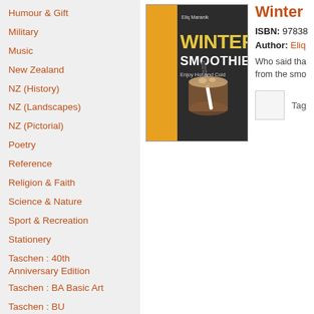Humour & Gift
Military
Music
New Zealand
NZ (History)
NZ (Landscapes)
NZ (Pictorial)
Poetry
Reference
Religion & Faith
Science & Nature
Sport & Recreation
Stationery
Taschen : 40th Anniversary Edition
Taschen : BA Basic Art
Taschen : BU Bibliotheca Universalis
Te Reo Māori
[Figure (photo): Book cover of 'Winter Smoothies' by Eliq Maranik. Dark background with orange accent, title in large yellow text, subtitle 'Enjoy Hot and Cold', with a smoothie drink image.]
Winter
ISBN: 97838...
Author: Eliq...
Who said tha... from the smo...
Tag